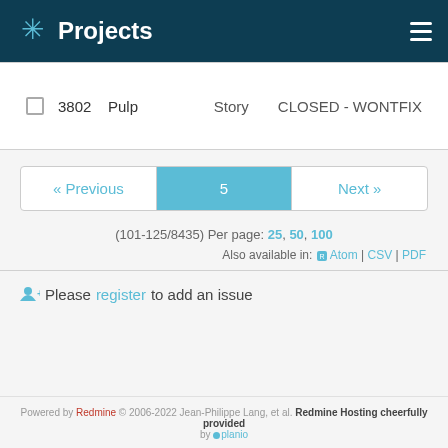Projects
3802  Pulp  Story  CLOSED - WONTFIX
« Previous  5  Next »
(101-125/8435) Per page: 25, 50, 100
Also available in: Atom | CSV | PDF
Please register to add an issue
Powered by Redmine © 2006-2022 Jean-Philippe Lang, et al. Redmine Hosting cheerfully provided by planio.